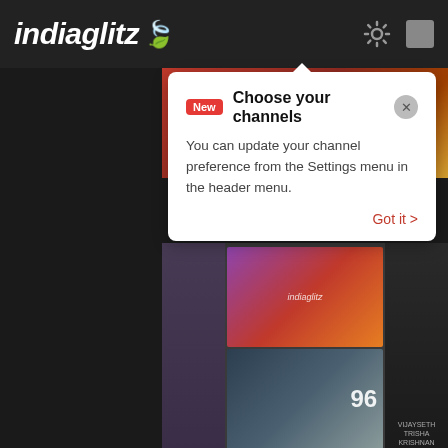indiaglitz
Choose your channels
You can update your channel preference from the Settings menu in the header menu.
Got it >
[Figure (screenshot): Movie Review banner image with red background]
🔴 LIVE : COBRA Movie Review | Cobra Movie Public Reaction | Chiyaan Vikram,
[Figure (photo): Collage of two female portraits with '96' text overlay]
Samantha சிங்கார வெளியி Close - Singer Chinmayi about Sam Friendship